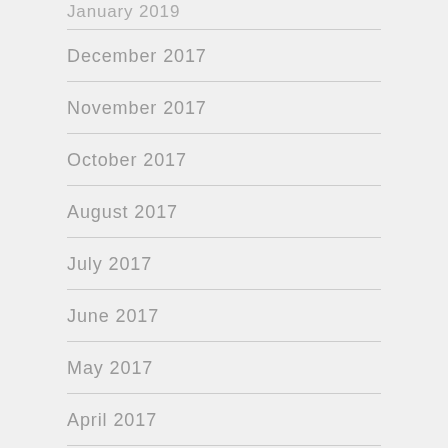January 2019
December 2017
November 2017
October 2017
August 2017
July 2017
June 2017
May 2017
April 2017